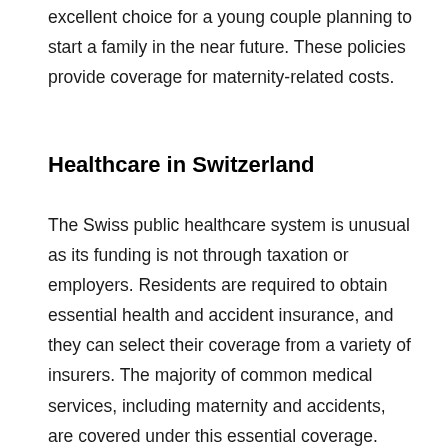excellent choice for a young couple planning to start a family in the near future. These policies provide coverage for maternity-related costs.
Healthcare in Switzerland
The Swiss public healthcare system is unusual as its funding is not through taxation or employers. Residents are required to obtain essential health and accident insurance, and they can select their coverage from a variety of insurers. The majority of common medical services, including maternity and accidents, are covered under this essential coverage.